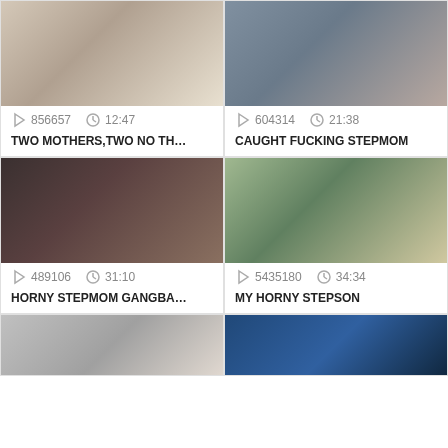[Figure (screenshot): Thumbnail image top-left: woman with long blonde hair, back view]
856657  12:47
TWO MOTHERS,TWO NO TH…
[Figure (screenshot): Thumbnail image top-right: two women on a bed]
604314  21:38
CAUGHT FUCKING STEPMOM
[Figure (screenshot): Thumbnail image middle-left: group scene, B Productions watermark]
489106  31:10
HORNY STEPMOM GANGBA…
[Figure (screenshot): Thumbnail image middle-right: woman in car with man, OMPERPASS.COM watermark]
5435180  34:34
MY HORNY STEPSON
[Figure (screenshot): Thumbnail image bottom-left: dark, building/interior]
[Figure (screenshot): Thumbnail image bottom-right: woman with blue lights]